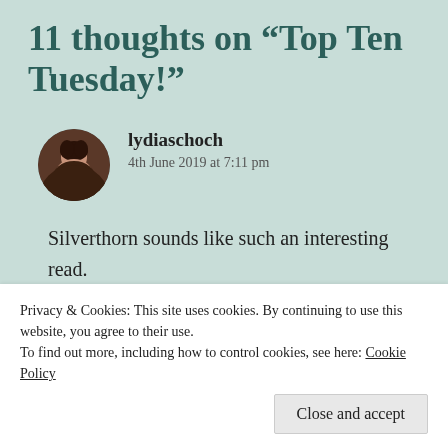11 thoughts on “Top Ten Tuesday!”
lydiaschoch
4th June 2019 at 7:11 pm
Silverthorn sounds like such an interesting read.
Privacy & Cookies: This site uses cookies. By continuing to use this website, you agree to their use.
To find out more, including how to control cookies, see here: Cookie Policy
Close and accept